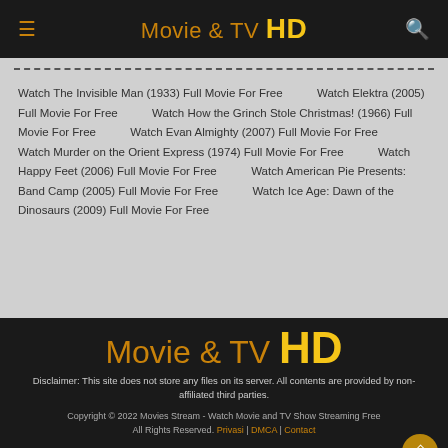Movie & TV HD
Watch The Invisible Man (1933) Full Movie For Free | Watch Elektra (2005) Full Movie For Free | Watch How the Grinch Stole Christmas! (1966) Full Movie For Free | Watch Evan Almighty (2007) Full Movie For Free | Watch Murder on the Orient Express (1974) Full Movie For Free | Watch Happy Feet (2006) Full Movie For Free | Watch American Pie Presents: Band Camp (2005) Full Movie For Free | Watch Ice Age: Dawn of the Dinosaurs (2009) Full Movie For Free
[Figure (logo): Movie & TV HD logo in orange and yellow on dark background]
Disclaimer: This site does not store any files on its server. All contents are provided by non-affiliated third parties.
Copyright © 2022 Movies Stream - Watch Movie and TV Show Streaming Free
All Rights Reserved. Privasi | DMCA | Contact